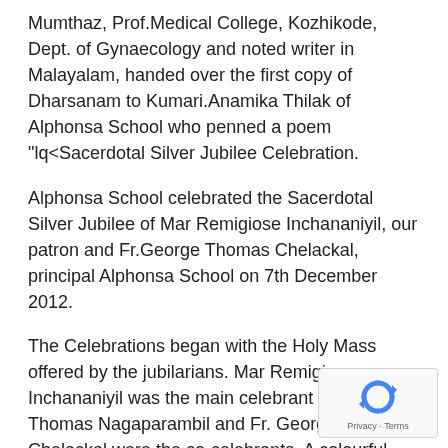Mumthaz, Prof.Medical College, Kozhikode, Dept. of Gynaecology and noted writer in Malayalam, handed over the first copy of Dharsanam to Kumari.Anamika Thilak of Alphonsa School who penned a poem "lq<Sacerdotal Silver Jubilee Celebration.
Alphonsa School celebrated the Sacerdotal Silver Jubilee of Mar Remigiose Inchananiyil, our patron and Fr.George Thomas Chelackal, principal Alphonsa School on 7th December 2012.
The Celebrations began with the Holy Mass offered by the jubilarians. Mar Remigiose Inchananiyil was the main celebrant Msgr. Thomas Nagaparambil and Fr. George Thomas Chelackal were the co-celebrants. A colourful cultural programme was arranged to felicitate the Jubilarians.
[Figure (logo): reCAPTCHA privacy badge with blue arrow icon and Privacy · Terms text]